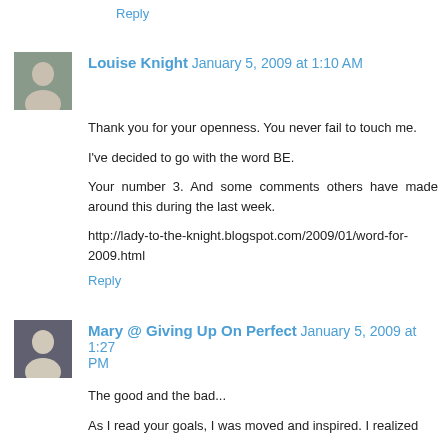Reply
Louise Knight January 5, 2009 at 1:10 AM
Thank you for your openness. You never fail to touch me.

I've decided to go with the word BE.

Your number 3. And some comments others have made around this during the last week.

http://lady-to-the-knight.blogspot.com/2009/01/word-for-2009.html
Reply
Mary @ Giving Up On Perfect January 5, 2009 at 1:27 PM
The good and the bad...

As I read your goals, I was moved and inspired. I realized